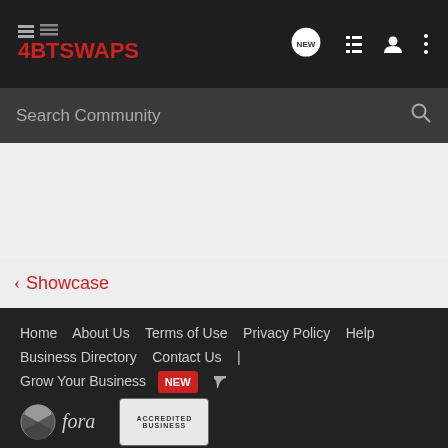4BTSWAPS
Search Community
< Showcase
Home  About Us  Terms of Use  Privacy Policy  Help  Business Directory  Contact Us  |  Grow Your Business  NEW  RSS
VerticalScope Inc., 111 Peter Street, Suite 600, Toronto, Ontario, M5V 2H1, Canada
The Fora platform includes forum software by XenForo